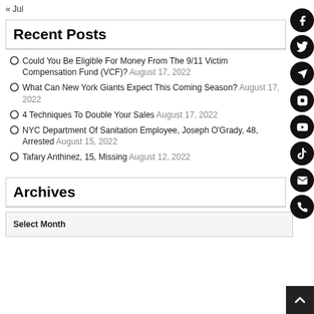« Jul
Recent Posts
Could You Be Eligible For Money From The 9/11 Victim Compensation Fund (VCF)? August 17, 2022
What Can New York Giants Expect This Coming Season? August 17, 2022
4 Techniques To Double Your Sales August 17, 2022
NYC Department Of Sanitation Employee, Joseph O'Grady, 48, Arrested August 15, 2022
Tafary Anthinez, 15, Missing August 12, 2022
Archives
Select Month